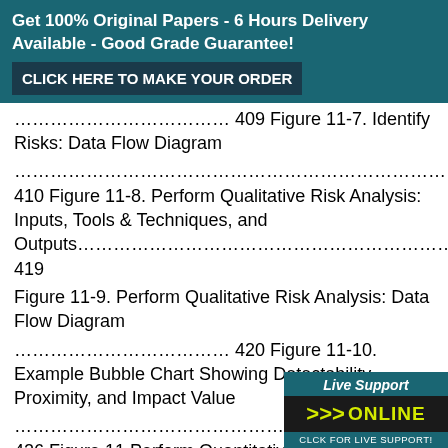Get 100% Original Papers - 6 Hours Delivery Available - Good Grade Guarantee! CLICK HERE TO MAKE YOUR ORDER
……………………………… 409 Figure 11-7. Identify Risks: Data Flow Diagram
………………………………………………………………………. 410 Figure 11-8. Perform Qualitative Risk Analysis: Inputs, Tools & Techniques, and Outputs……………………………………………………………………………………………………… 419
Figure 11-9. Perform Qualitative Risk Analysis: Data Flow Diagram
……………………………… 420 Figure 11-10. Example Bubble Chart Showing Detectability, Proximity, and Impact Value
…………………………………………………………………………………………………… 426 Figure 11- Perform Quantitative Risk Analys